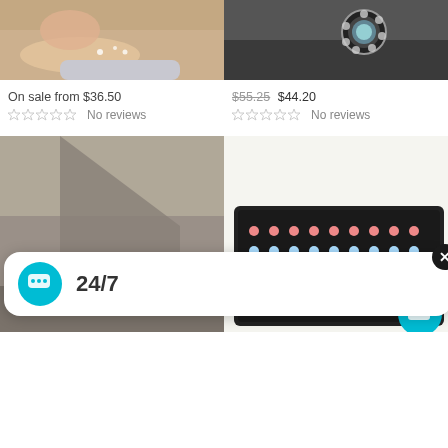[Figure (photo): Baby wearing rhinestone bracelet with fur, close-up photo]
[Figure (photo): Woman wearing large crystal brooch/earring, dark background]
On sale from $36.50
☆☆☆☆☆ No reviews
$55.25 $44.20
☆☆☆☆☆ No reviews
[Figure (photo): Gray/brown leather or fabric folded material, studio photo]
[Figure (photo): Black jewelry display tray with colorful stud earrings arranged in rows]
[Figure (screenshot): Chat support popup showing 24/7 text with teal chat bubble icon and close button]